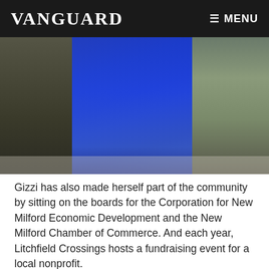VANGUARD  ≡ MENU
[Figure (photo): Partial view of a woman in a blue dress with a dark jacket, photographed outdoors. Upper body and torso visible.]
Gizzi has also made herself part of the community by sitting on the boards for the Corporation for New Milford Economic Development and the New Milford Chamber of Commerce. And each year, Litchfield Crossings hosts a fundraising event for a local nonprofit.
Litchfield Crossings isn’t Gizzi’s only focus. ECCO Development is busy pursuing leasing